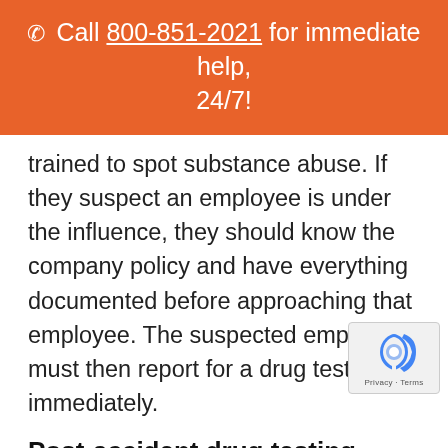📞 Call 800-851-2021 for immediate help, 24/7!
trained to spot substance abuse. If they suspect an employee is under the influence, they should know the company policy and have everything documented before approaching that employee. The suspected employee must then report for a drug test immediately.
Post-accident drug testing